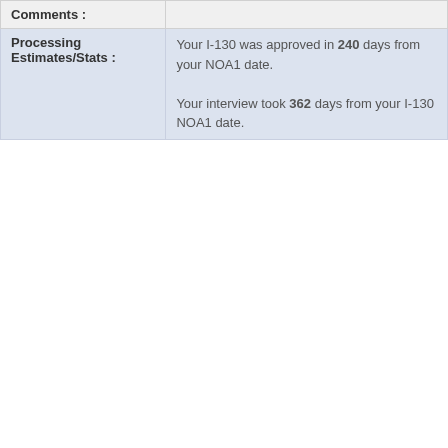| Field | Value |
| --- | --- |
| Comments : |  |
| Processing Estimates/Stats : | Your I-130 was approved in 240 days from your NOA1 date.

Your interview took 362 days from your I-130 NOA1 date. |